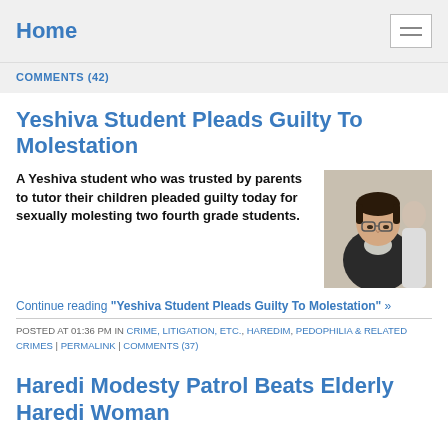Home
COMMENTS (42)
Yeshiva Student Pleads Guilty To Molestation
A Yeshiva student who was trusted by parents to tutor their children pleaded guilty today for sexually molesting two fourth grade students.
[Figure (photo): Photo of a young man with glasses and dark hair wearing a dark jacket, looking downward]
Continue reading "Yeshiva Student Pleads Guilty To Molestation" »
POSTED AT 01:36 PM IN CRIME, LITIGATION, ETC., HAREDIM, PEDOPHILIA & RELATED CRIMES | PERMALINK | COMMENTS (37)
Haredi Modesty Patrol Beats Elderly Haredi Woman